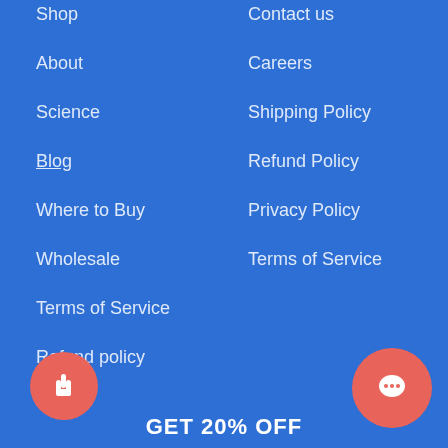Shop
About
Science
Blog
Where to Buy
Wholesale
Terms of Service
Refund policy
Contact us
Careers
Shipping Policy
Refund Policy
Privacy Policy
Terms of Service
[Figure (illustration): Pink circle button with a hand/pointer icon on the left side]
[Figure (illustration): Pink circle chat bubble icon on the right side]
GET 20% OFF